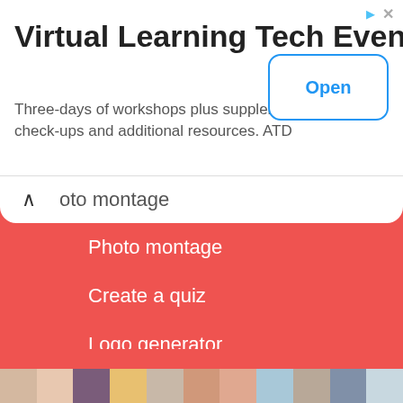[Figure (screenshot): Advertisement banner for Virtual Learning Tech Event with Open button]
Virtual Learning Tech Event
Three-days of workshops plus supplemental check-ups and additional resources. ATD
Photo montage
Photo montage
Create a quiz
Logo generator
Batch online photo editor
Messaging Conversation Generator
OTHER WEBSITES TO DISCOVER!
[Figure (photo): Strip of portrait photos of people]